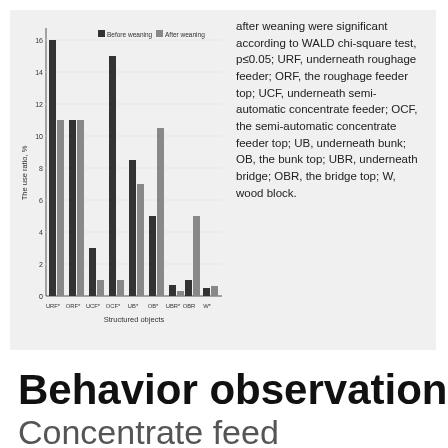[Figure (grouped-bar-chart): ]
after weaning were significant according to WALD chi-square test, p≤0.05; URF, underneath roughage feeder; ORF, the roughage feeder top; UCF, underneath semi-automatic concentrate feeder; OCF, the semi-automatic concentrate feeder top; UB, underneath bunk; OB, the bunk top; UBR, underneath bridge; OBR, the bridge top; W, wood block.
Behavior observation
Concentrate feed